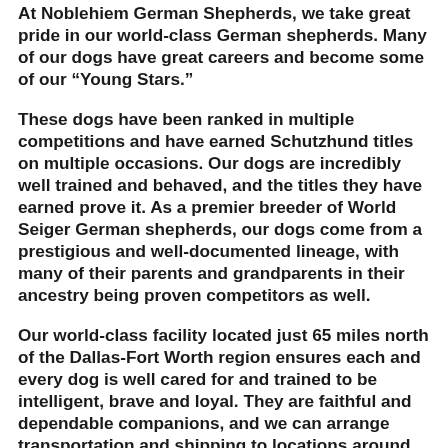At Noblehiem German Shepherds, we take great pride in our world-class German shepherds. Many of our dogs have great careers and become some of our “Young Stars.”
These dogs have been ranked in multiple competitions and have earned Schutzhund titles on multiple occasions. Our dogs are incredibly well trained and behaved, and the titles they have earned prove it. As a premier breeder of World Seiger German shepherds, our dogs come from a prestigious and well-documented lineage, with many of their parents and grandparents in their ancestry being proven competitors as well.
Our world-class facility located just 65 miles north of the Dallas-Fort Worth region ensures each and every dog is well cared for and trained to be intelligent, brave and loyal. They are faithful and dependable companions, and we can arrange transportation and shipping to locations around the country.
For more information on any of our dogs